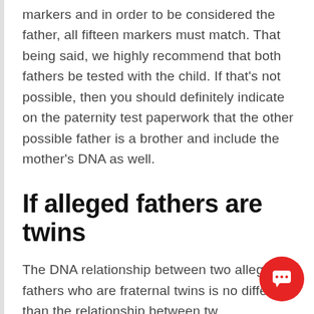markers and in order to be considered the father, all fifteen markers must match. That being said, we highly recommend that both fathers be tested with the child. If that's not possible, then you should definitely indicate on the paternity test paperwork that the other possible father is a brother and include the mother's DNA as well.
If alleged fathers are twins
The DNA relationship between two alleged fathers who are fraternal twins is no different than the relationship between two brothers, where...